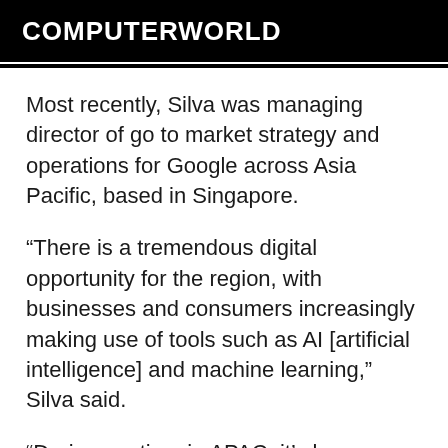COMPUTERWORLD
Most recently, Silva was managing director of go to market strategy and operations for Google across Asia Pacific, based in Singapore.
“There is a tremendous digital opportunity for the region, with businesses and consumers increasingly making use of tools such as AI [artificial intelligence] and machine learning,” Silva said.
“During my time in APAC, it’s been wonderful to see and share stories of the innovations coming out of Australia and New Zealand, and I can’t wait to come back and work with our partners and clients to help them innovate, grow and succeed."